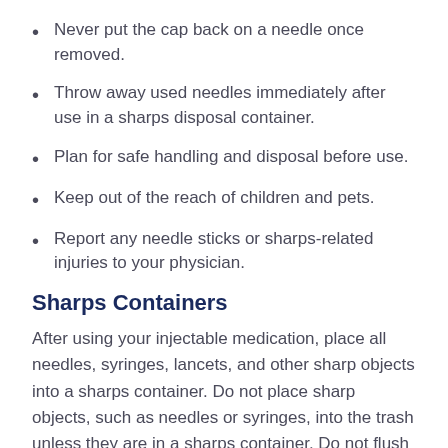Never put the cap back on a needle once removed.
Throw away used needles immediately after use in a sharps disposal container.
Plan for safe handling and disposal before use.
Keep out of the reach of children and pets.
Report any needle sticks or sharps-related injuries to your physician.
Sharps Containers
After using your injectable medication, place all needles, syringes, lancets, and other sharp objects into a sharps container. Do not place sharp objects, such as needles or syringes, into the trash unless they are in a sharps container. Do not flush them down